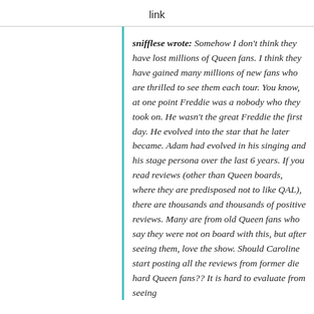link
snifflese wrote: Somehow I don't think they have lost millions of Queen fans. I think they have gained many millions of new fans who are thrilled to see them each tour. You know, at one point Freddie was a nobody who they took on. He wasn't the great Freddie the first day. He evolved into the star that he later became. Adam had evolved in his singing and his stage persona over the last 6 years. If you read reviews (other than Queen boards, where they are predisposed not to like QAL), there are thousands and thousands of positive reviews. Many are from old Queen fans who say they were not on board with this, but after seeing them, love the show. Should Caroline start posting all the reviews from former die hard Queen fans?? It is hard to evaluate from seeing